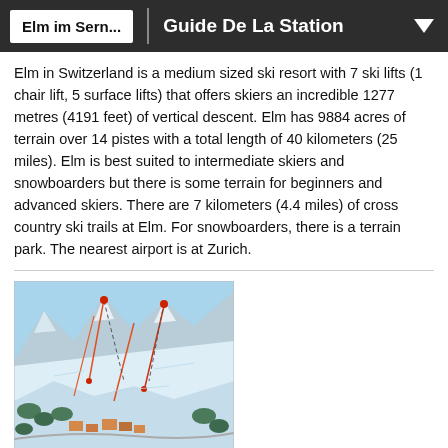Elm im Sern... | Guide De La Station
Elm in Switzerland is a medium sized ski resort with 7 ski lifts (1 chair lift, 5 surface lifts) that offers skiers an incredible 1277 metres (4191 feet) of vertical descent. Elm has 9884 acres of terrain over 14 pistes with a total length of 40 kilometers (25 miles). Elm is best suited to intermediate skiers and snowboarders but there is some terrain for beginners and advanced skiers. There are 7 kilometers (4.4 miles) of cross country ski trails at Elm. For snowboarders, there is a terrain park. The nearest airport is at Zurich.
[Figure (map): Ski trail map of Elm ski resort showing pistes, lifts, and mountain terrain with snow-covered slopes in blue and white.]
Plan des pistes